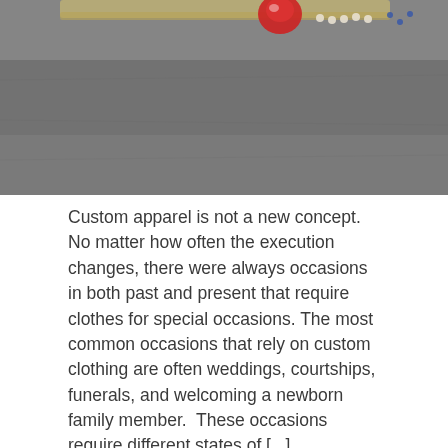[Figure (photo): Close-up photograph of decorative fabric or textile with red, white, and blue ornamental elements on a gray background — appears to be custom apparel or clothing detail.]
Custom apparel is not a new concept. No matter how often the execution changes, there were always occasions in both past and present that require clothes for special occasions. The most common occasions that rely on custom clothing are often weddings, courtships, funerals, and welcoming a newborn family member.  These occasions require different states of [...]
Filed Under: Uncategorized